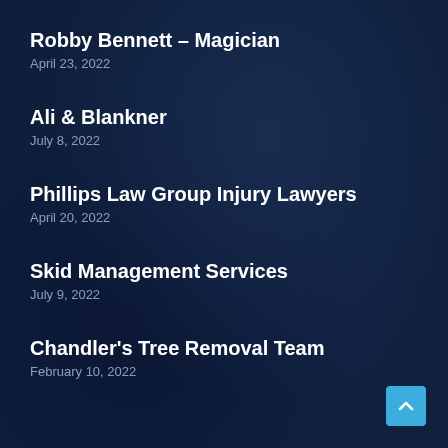Robby Bennett – Magician
April 23, 2022
Ali & Blankner
July 8, 2022
Phillips Law Group Injury Lawyers
April 20, 2022
Skid Management Services
July 9, 2022
Chandler's Tree Removal Team
February 10, 2022